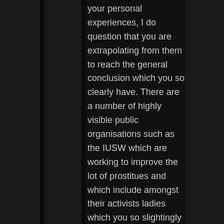your personal experiences, I do question that you are extrapolating from them to reach the general conclusion which you so clearly have. There are a number of highly visible public organisations such as the IUSW which are working to improve the lot of prostitues and which include amongst their activists ladies which you so slightingly refer to as 'happy hookers'. Perhaps these did